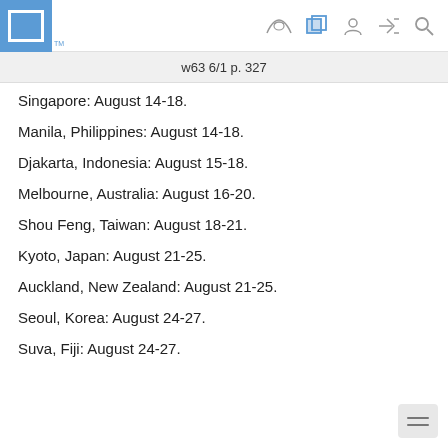w63 6/1 p. 327
Singapore: August 14-18.
Manila, Philippines: August 14-18.
Djakarta, Indonesia: August 15-18.
Melbourne, Australia: August 16-20.
Shou Feng, Taiwan: August 18-21.
Kyoto, Japan: August 21-25.
Auckland, New Zealand: August 21-25.
Seoul, Korea: August 24-27.
Suva, Fiji: August 24-27.